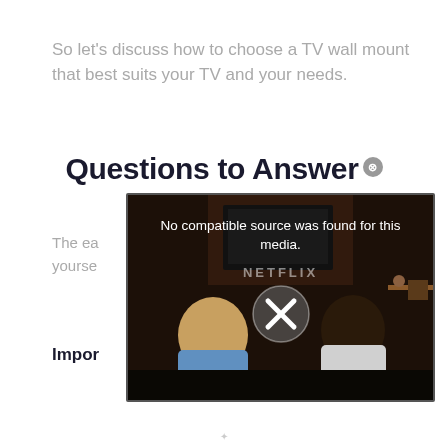So let’s discuss how to choose a TV wall mount that best suits your TV and your needs.
Questions to Answer
The ea... yourse...
[Figure (screenshot): Video player overlay showing 'No compatible source was found for this media.' error message with NETFLIX branding and a large X close button, over a background of two people sitting on a couch watching TV.]
Impor...